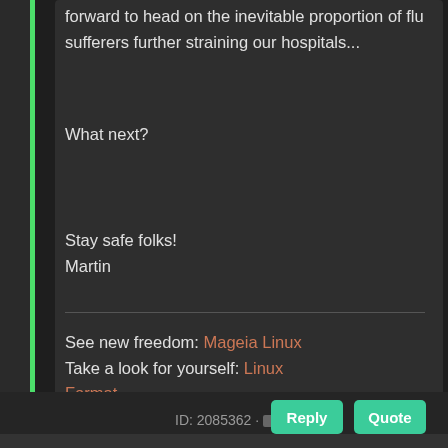forward to head on the inevitable proportion of flu sufferers further straining our hospitals...
What next?
Stay safe folks!
Martin
See new freedom: Mageia Linux
Take a look for yourself: Linux Format
The Future is what We all make IT (GPLv3)
ID: 2085362 · Reply Quote